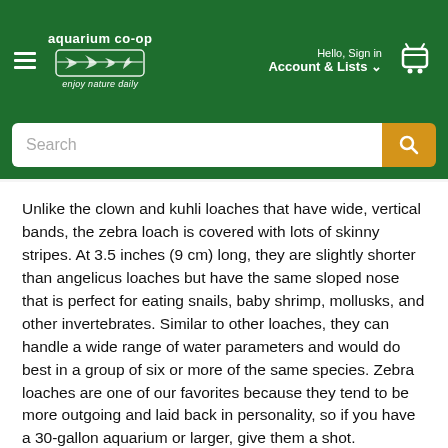aquarium co-op | enjoy nature daily | Hello, Sign in | Account & Lists
[Figure (screenshot): Website navigation header with green background, aquarium co-op logo, hamburger menu, sign in link, account & lists dropdown, and shopping cart icon]
Unlike the clown and kuhli loaches that have wide, vertical bands, the zebra loach is covered with lots of skinny stripes. At 3.5 inches (9 cm) long, they are slightly shorter than angelicus loaches but have the same sloped nose that is perfect for eating snails, baby shrimp, mollusks, and other invertebrates. Similar to other loaches, they can handle a wide range of water parameters and would do best in a group of six or more of the same species. Zebra loaches are one of our favorites because they tend to be more outgoing and laid back in personality, so if you have a 30-gallon aquarium or larger, give them a shot.